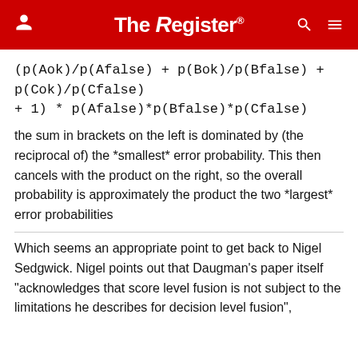The Register
(p(Aok)/p(Afalse) + p(Bok)/p(Bfalse) + p(Cok)/p(Cfalse) + 1) * p(Afalse)*p(Bfalse)*p(Cfalse)
the sum in brackets on the left is dominated by (the reciprocal of) the *smallest* error probability. This then cancels with the product on the right, so the overall probability is approximately the product the two *largest* error probabilities
Which seems an appropriate point to get back to Nigel Sedgwick. Nigel points out that Daugman's paper itself "acknowledges that score level fusion is not subject to the limitations he describes for decision level fusion",